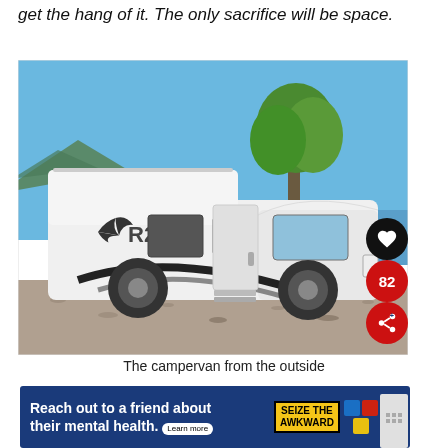get the hang of it.  The only sacrifice will be space.
[Figure (photo): A white campervan/motorhome parked outdoors on a gravel area with blue sky, a tree, and a lake or river in the background. The van has a bird logo on the side. There are social media UI overlays including a heart button, a share button, a red badge showing '82', and a 'What's Next' red panel showing 'How to choose the...']
The campervan from the outside
[Figure (infographic): Advertisement banner: 'Reach out to a friend about their mental health. Learn more' on blue background, with 'SEIZE THE AWKWARD' yellow/black label and mental health organization logos]